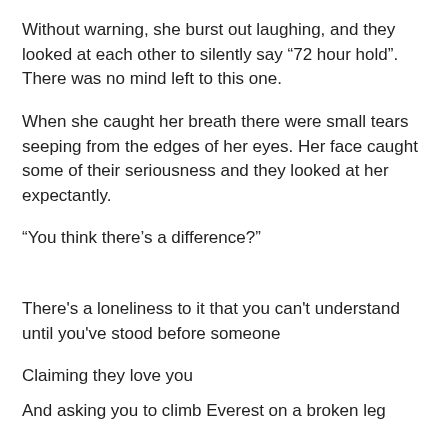Without warning, she burst out laughing, and they looked at each other to silently say “72 hour hold”. There was no mind left to this one.
When she caught her breath there were small tears seeping from the edges of her eyes. Her face caught some of their seriousness and they looked at her expectantly.
“You think there’s a difference?”
There's a loneliness to it that you can't understand until you've stood before someone
Claiming they love you
And asking you to climb Everest on a broken leg